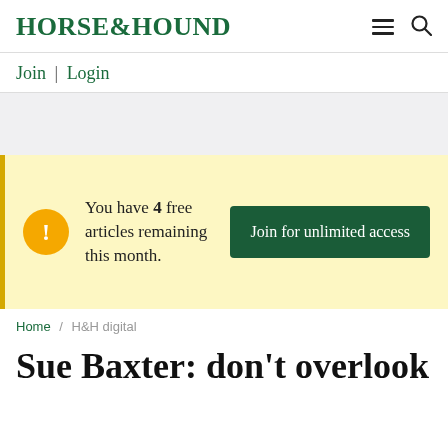HORSE&HOUND
Join | Login
[Figure (other): Gray advertisement placeholder banner]
You have 4 free articles remaining this month. Join for unlimited access
Home / H&H digital
Sue Baxter: don’t overlook